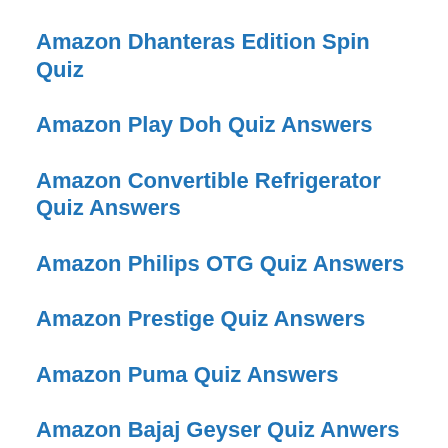Amazon Dhanteras Edition Spin Quiz
Amazon Play Doh Quiz Answers
Amazon Convertible Refrigerator Quiz Answers
Amazon Philips OTG Quiz Answers
Amazon Prestige Quiz Answers
Amazon Puma Quiz Answers
Amazon Bajaj Geyser Quiz Anwers
Amazon AO Smith Quiz Answers